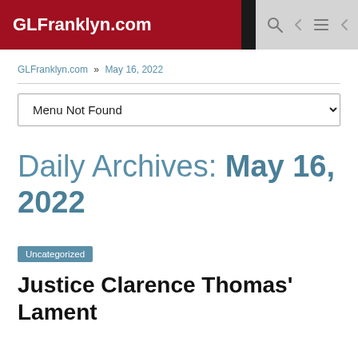GLFranklyn.com
GLFranklyn.com » May 16, 2022
Menu Not Found
Daily Archives: May 16, 2022
Uncategorized
Justice Clarence Thomas' Lament